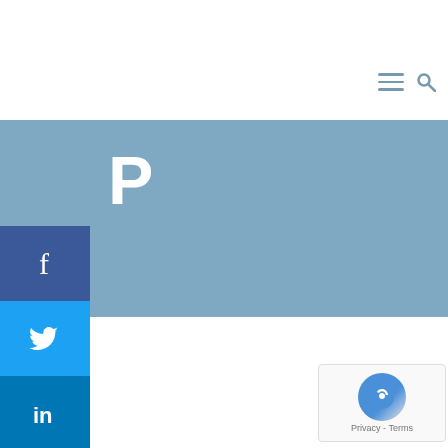Variables & Data-types in PHP — November 28, 2021
riables & Data-types in PHP
zurefu  November 28, 2021  Learn PHP, PHP, hnology Update News, WordPress
[Figure (screenshot): Code editor (Sublime Text) showing PHP code in variables.php: <?php $a="book"; echo("hello i am $a <br>"); echo"my name is ".$a."<br> i am a non living thing.<br>";]